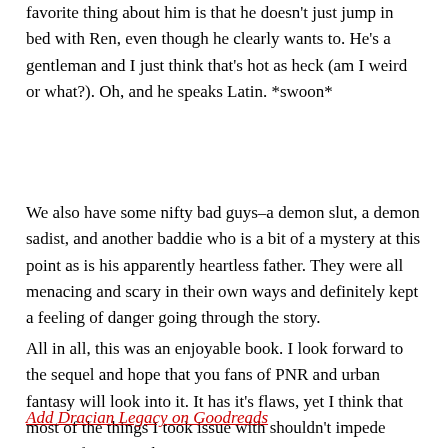favorite thing about him is that he doesn't just jump in bed with Ren, even though he clearly wants to. He's a gentleman and I just think that's hot as heck (am I weird or what?). Oh, and he speaks Latin. *swoon*
We also have some nifty bad guys–a demon slut, a demon sadist, and another baddie who is a bit of a mystery at this point as is his apparently heartless father. They were all menacing and scary in their own ways and definitely kept a feeling of danger going through the story.
All in all, this was an enjoyable book. I look forward to the sequel and hope that you fans of PNR and urban fantasy will look into it. It has it's flaws, yet I think that most of the things I took issue with shouldn't impede anyone from snatching it up.
Add Dracian Legacy on Goodreads